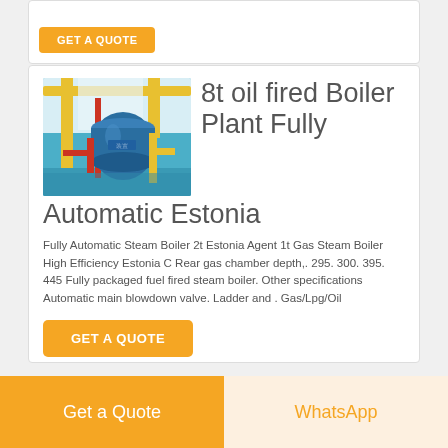[Figure (photo): Partial view of a product card with an orange GET A QUOTE button at the bottom]
[Figure (photo): Industrial oil fired boiler plant in a factory setting with yellow crane structure and blue cylindrical boiler unit]
8t oil fired Boiler Plant Fully Automatic Estonia
Fully Automatic Steam Boiler 2t Estonia Agent 1t Gas Steam Boiler High Efficiency Estonia C Rear gas chamber depth,. 295. 300. 395. 445 Fully packaged fuel fired steam boiler. Other specifications Automatic main blowdown valve. Ladder and . Gas/Lpg/Oil
GET A QUOTE
Get a Quote   WhatsApp